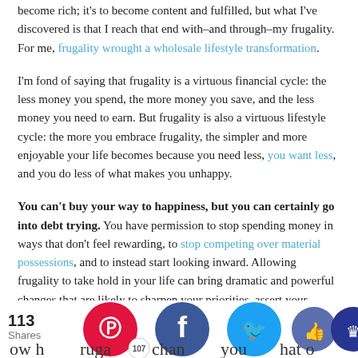become rich; it's to become content and fulfilled, but what I've discovered is that I reach that end with–and through–my frugality. For me, frugality wrought a wholesale lifestyle transformation.
I'm fond of saying that frugality is a virtuous financial cycle: the less money you spend, the more money you save, and the less money you need to earn. But frugality is also a virtuous lifestyle cycle: the more you embrace frugality, the simpler and more enjoyable your life becomes because you need less, you want less, and you do less of what makes you unhappy.
You can't buy your way to happiness, but you can certainly go into debt trying. You have permission to stop spending money in ways that don't feel rewarding, to stop competing over material possessions, and to instead start looking inward. Allowing frugality to take hold in your life can bring dramatic and powerful changes that are likely to sharpen your priorities, assert your values, and eliminate the unimportant.
[Figure (infographic): Social share bar showing 113 Shares, Pinterest icon with 107, Facebook icon, Twitter icon, thumbs-up icon, and crown icon. Bottom text partially visible: 'ow h  rugal  chan  you  hat o']